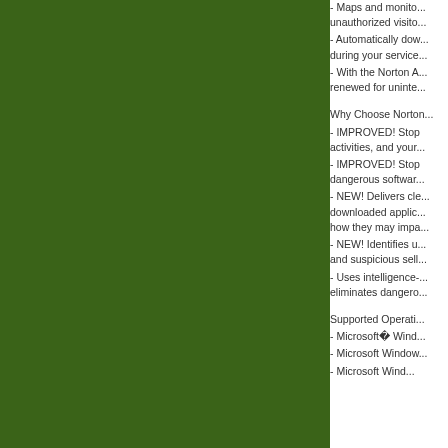[Figure (illustration): Large dark green rectangular panel occupying the left two-thirds of the page]
- Maps and monito... unauthorized visito...
- Automatically dow... during your service...
- With the Norton A... renewed for uninte...
Why Choose Norton...
- IMPROVED! Stop activities, and your...
- IMPROVED! Stop dangerous softwar...
- NEW! Delivers cle... downloaded applic... how they may impa...
- NEW! Identifies u... and suspicious sell...
- Uses intelligence-... eliminates dangero...
Supported Operati...
- Microsoft® Wind...
- Microsoft Window...
- Microsoft Wind...